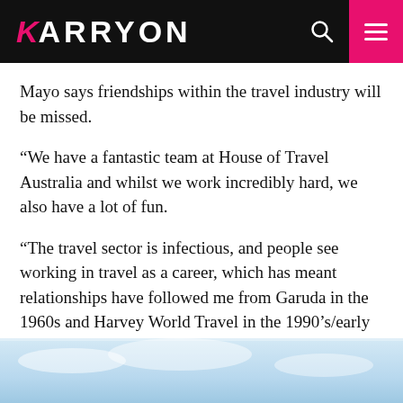KARRYON
Mayo says friendships within the travel industry will be missed.
“We have a fantastic team at House of Travel Australia and whilst we work incredibly hard, we also have a lot of fun.
“The travel sector is infectious, and people see working in travel as a career, which has meant relationships have followed me from Garuda in the 1960s and Harvey World Travel in the 1990’s/early 2000’s, to House of Travel Australia.”
[Figure (photo): Partial view of a sky/outdoor photo at the bottom of the page]